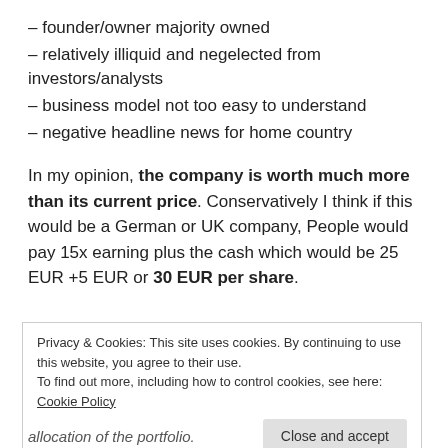– founder/owner majority owned
– relatively illiquid and negelected from investors/analysts
– business model not too easy to understand
– negative headline news for home country
In my opinion, the company is worth much more than its current price. Conservatively I think if this would be a German or UK company, People would pay 15x earning plus the cash which would be 25 EUR +5 EUR or 30 EUR per share.
Privacy & Cookies: This site uses cookies. By continuing to use this website, you agree to their use.
To find out more, including how to control cookies, see here: Cookie Policy
allocation of the portfolio.